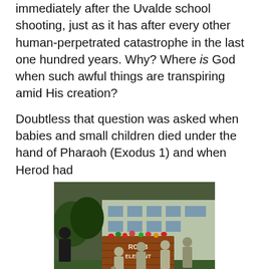immediately after the Uvalde school shooting, just as it has after every other human-perpetrated catastrophe in the last one hundred years. Why? Where is God when such awful things are transpiring amid His creation?
Doubtless that question was asked when babies and small children died under the hand of Pharaoh (Exodus 1) and when Herod had
[Figure (photo): Law enforcement officers gathered around a brick sign reading 'ROBB ELEMENTARY' with flowers and memorials placed at the base, on a grassy lawn in front of a school building.]
all babies under two years old slain in the time of Jesus'